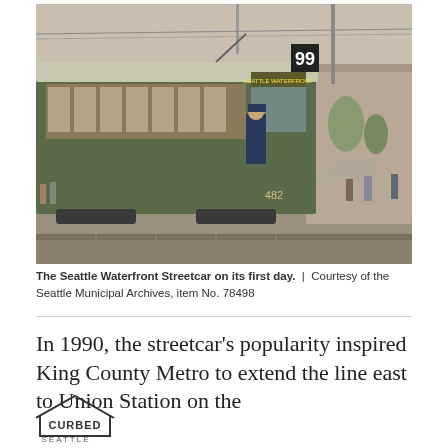[Figure (photo): Black and white photograph of the Seattle Waterfront Streetcar (number 482) on its first day, showing a green streetcar with a conductor visible in the doorway. The streetcar displays 'SEATTLE WATERFRONT' on its destination sign and a '99' route sign. People and buildings are visible in the background.]
The Seattle Waterfront Streetcar on its first day. | Courtesy of the Seattle Municipal Archives, item No. 78498
In 1990, the streetcar's popularity inspired King County Metro to extend the line east to Union Station on the
[Figure (logo): Curbed Seattle logo — a house-shaped outline containing the word CURBED with SEATTLE below]